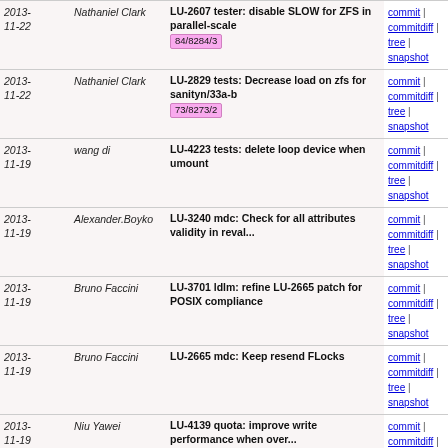| Date | Author | Commit message |  |
| --- | --- | --- | --- |
| 2013-11-22 | Nathaniel Clark | LU-2607 tester: disable SLOW for ZFS in parallel-scale 84/8284/3 | commit | commitdiff | tree | snapshot |
| 2013-11-22 | Nathaniel Clark | LU-2829 tests: Decrease load on zfs for sanityn/33a-b 73/8273/2 | commit | commitdiff | tree | snapshot |
| 2013-11-19 | wang di | LU-4223 tests: delete loop device when umount | commit | commitdiff | tree | snapshot |
| 2013-11-19 | Alexander.Boyko | LU-3240 mdc: Check for all attributes validity in reval... | commit | commitdiff | tree | snapshot |
| 2013-11-19 | Bruno Faccini | LU-3701 ldlm: refine LU-2665 patch for POSIX compliance | commit | commitdiff | tree | snapshot |
| 2013-11-19 | Bruno Faccini | LU-2665 mdc: Keep resend FLocks | commit | commitdiff | tree | snapshot |
| 2013-11-19 | Niu Yawei | LU-4139 quota: improve write performance when over... | commit | commitdiff | tree | snapshot |
| 2013-11-18 | Shuichi Ihara | LU-3166 build: Fix failed OFED event checking on OFED-3.5 05/8205/2 | commit | commitdiff | tree | snapshot |
| 2013-11-18 | Jian Yu | LU-3812 tests: check Lustre version in sanity-scrub... 29/7529/3 | commit | commitdiff | tree | snapshot |
| 2013-11-17 | Bob Glossman | LU-3763 utils: set multipath devices recursively 63/8163/2 | commit | commitdiff | tree | snapshot |